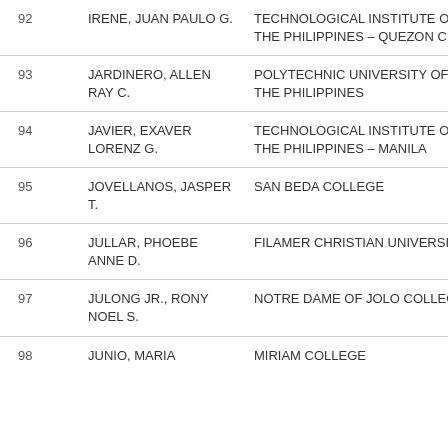| No. | Name | School |
| --- | --- | --- |
| 92 | IRENE, JUAN PAULO G. | TECHNOLOGICAL INSTITUTE OF THE PHILIPPINES – QUEZON CITY |
| 93 | JARDINERO, ALLEN RAY C. | POLYTECHNIC UNIVERSITY OF THE PHILIPPINES |
| 94 | JAVIER, EXAVER LORENZ G. | TECHNOLOGICAL INSTITUTE OF THE PHILIPPINES – MANILA |
| 95 | JOVELLANOS, JASPER T. | SAN BEDA COLLEGE |
| 96 | JULLAR, PHOEBE ANNE D. | FILAMER CHRISTIAN UNIVERSITY |
| 97 | JULONG JR., RONY NOEL S. | NOTRE DAME OF JOLO COLLEGE |
| 98 | JUNIO, MARIA | MIRIAM COLLEGE |